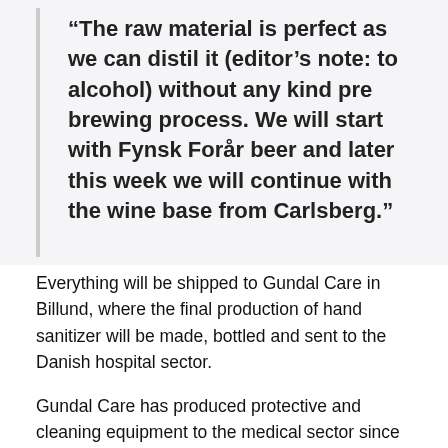“The raw material is perfect as we can distil it (editor’s note: to alcohol) without any kind pre brewing process. We will start with Fynsk Forår beer and later this week we will continue with the wine base from Carlsberg.”
Everything will be shipped to Gundal Care in Billund, where the final production of hand sanitizer will be made, bottled and sent to the Danish hospital sector.
Gundal Care has produced protective and cleaning equipment to the medical sector since 1989.
The idea to produce alcohol at distilleries is not invented here, other countries have been doing the same.